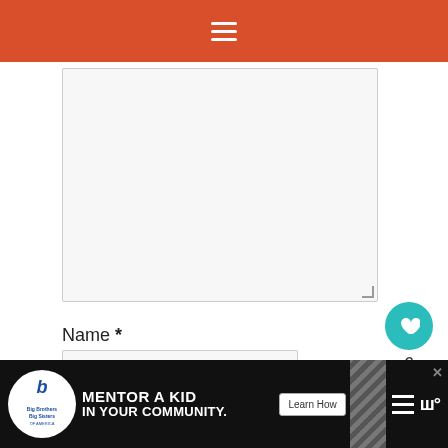Navigation menu (hamburger icon)
[Figure (screenshot): Large text area input box (empty comment field)]
Name *
[Figure (screenshot): Name input field (empty text box)]
Email *
[Figure (screenshot): Heart/like button showing count of 6, and share button]
[Figure (screenshot): What's Next panel: Caramelized Onion Potat...]
[Figure (screenshot): Advertisement banner: Big Brothers Big Sisters - MENTOR A KID IN YOUR COMMUNITY. Learn How]